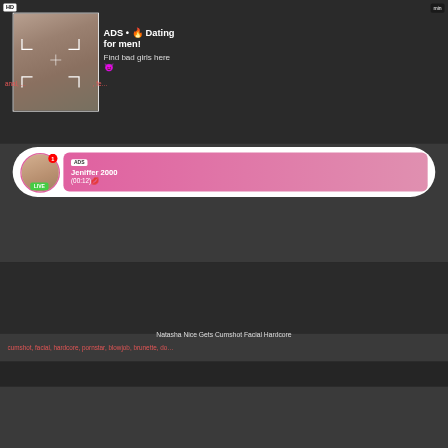[Figure (screenshot): Ad banner showing a woman taking a selfie in a mirror, with REC indicator and camera frame overlay. Dark background. HD badge top-left, 'min' label top-right.]
ADS • 🔥 Dating for men! Find bad girls here 😈
anal, ... fe...
[Figure (screenshot): Live notification bubble with avatar (LIVE badge, red notification badge '1'), pink gradient message bubble showing ADS badge, 'Jeniffer 2000', '(00:12)💋']
ADS
Jeniffer 2000
(00:12)💋
HD
37 min
Natasha Nice Gets Cumshot Facial Hardcore
cumshot, facial, hardcore, pornstar, blowjob, brunette, do...